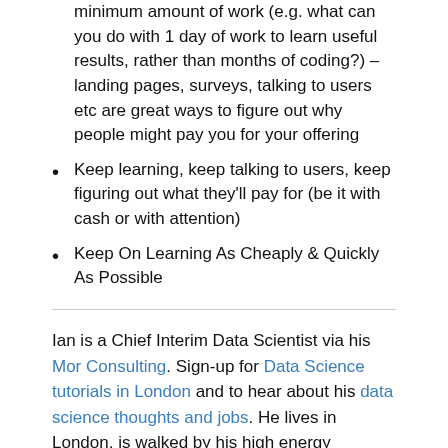minimum amount of work (e.g. what can you do with 1 day of work to learn useful results, rather than months of coding?) – landing pages, surveys, talking to users etc are great ways to figure out why people might pay you for your offering
Keep learning, keep talking to users, keep figuring out what they'll pay for (be it with cash or with attention)
Keep On Learning As Cheaply & Quickly As Possible
Ian is a Chief Interim Data Scientist via his Mor Consulting. Sign-up for Data Science tutorials in London and to hear about his data science thoughts and jobs. He lives in London, is walked by his high energy Springer Spaniel and is a consumer of fine coffees.